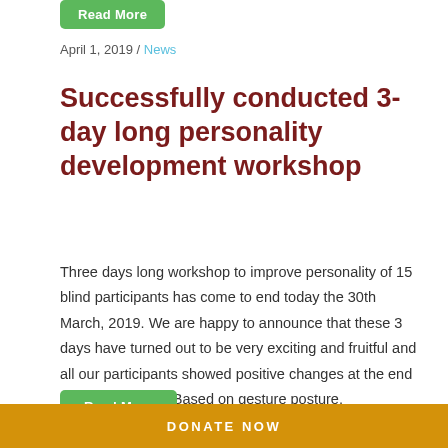Read More
April 1, 2019 / News
Successfully conducted 3-day long personality development workshop
Three days long workshop to improve personality of 15 blind participants has come to end today the 30th March, 2019. We are happy to announce that these 3 days have turned out to be very exciting and fruitful and all our participants showed positive changes at the end of this workshop. Based on gesture posture, communicating with people without hesitation ...
Read More
DONATE NOW